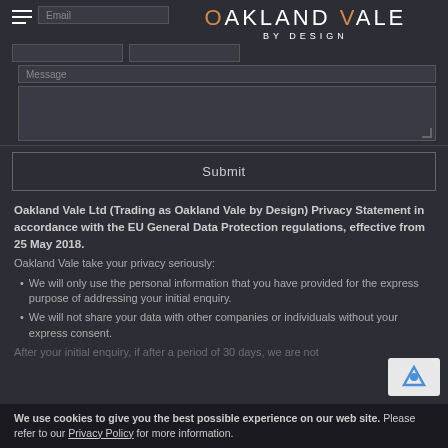[Figure (logo): Oakland Vale by Design logo with hamburger menu icon and form fields (Email, Name, Phone, Message) above it]
Submit
Oakland Vale Ltd (Trading as Oakland Vale by Design) Privacy Statement in accordance with the EU General Data Protection regulations, effective from 25 May 2018.
Oakland Vale take your privacy seriously:
We will only use the personal information that you have provided for the express purpose of addressing your initial enquiry.
We will not share your data with other companies or individuals without your express consent.
After your initial enquiry, if after a period of 30 days, we are not...
We use cookies to give you the best possible experience on our web site. Please refer to our Privacy Policy for more information.